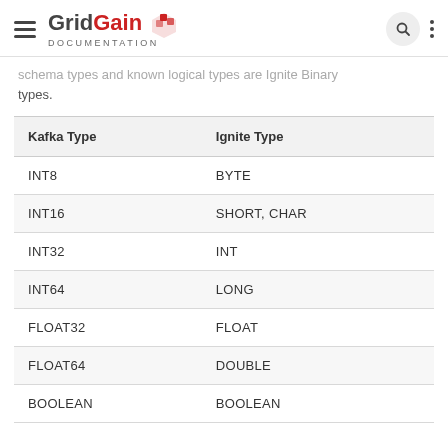GridGain Documentation
schema types and known logical types are Ignite Binary types.
| Kafka Type | Ignite Type |
| --- | --- |
| INT8 | BYTE |
| INT16 | SHORT, CHAR |
| INT32 | INT |
| INT64 | LONG |
| FLOAT32 | FLOAT |
| FLOAT64 | DOUBLE |
| BOOLEAN | BOOLEAN |